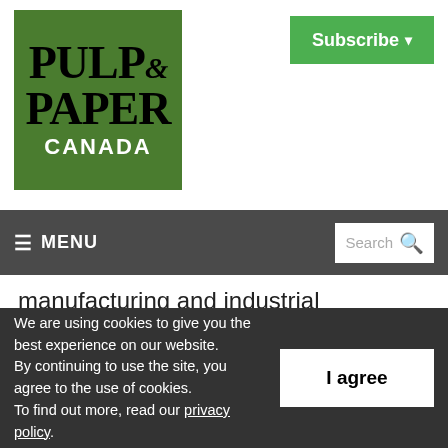[Figure (logo): Pulp & Paper Canada logo on green background]
Subscribe ▾
≡ MENU  Search 🔍
manufacturing and industrial automation customers achieve energy efficiency.
A new application from Invensys Operations M...
We are using cookies to give you the best experience on our website. By continuing to use the site, you agree to the use of cookies. To find out more, read our privacy policy.
I agree